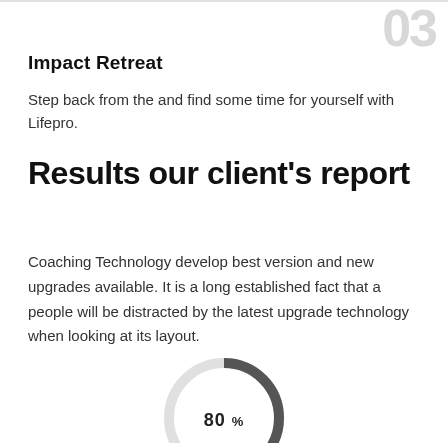03
Impact Retreat
Step back from the and find some time for yourself with Lifepro.
Results our client's report
Coaching Technology develop best version and new upgrades available. It is a long established fact that a people will be distracted by the latest upgrade technology when looking at its layout.
[Figure (donut-chart): ]